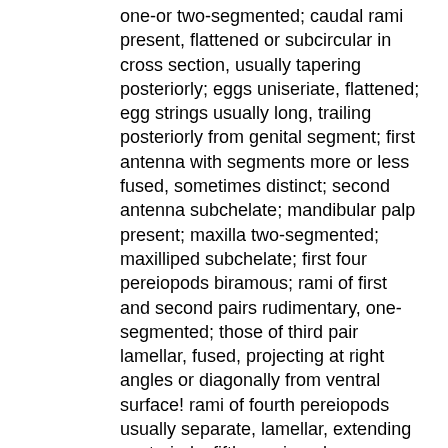one-or two-segmented; caudal rami present, flattened or subcircular in cross section, usually tapering posteriorly; eggs uniseriate, flattened; egg strings usually long, trailing posteriorly from genital segment; first antenna with segments more or less fused, sometimes distinct; second antenna subchelate; mandibular palp present; maxilla two-segmented; maxilliped subchelate; first four pereiopods biramous; rami of first and second pairs rudimentary, one-segmented; those of third pair lamellar, fused, projecting at right angles or diagonally from ventral surface! rami of fourth pereiopods usually separate, lamellar, extending posteriorly; fifth pereiopods uniramous, rudimentary or lacking. Male as for Paralernanthropus. Parasitic on marine teleosts.